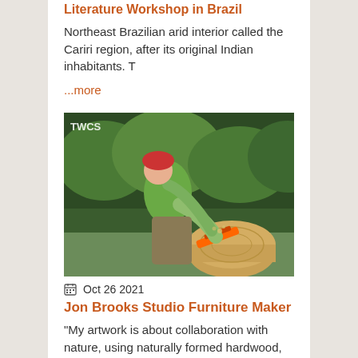Literature Workshop in Brazil
Northeast Brazilian arid interior called the Cariri region, after its original Indian inhabitants. T
...more
[Figure (photo): A man in a green shirt and red helmet using a chainsaw to carve a large wooden log outdoors, with green trees in the background. TWCS watermark visible in top-left corner.]
Oct 26 2021
Jon Brooks Studio Furniture Maker
"My artwork is about collaboration with nature, using naturally formed hardwood, which is found